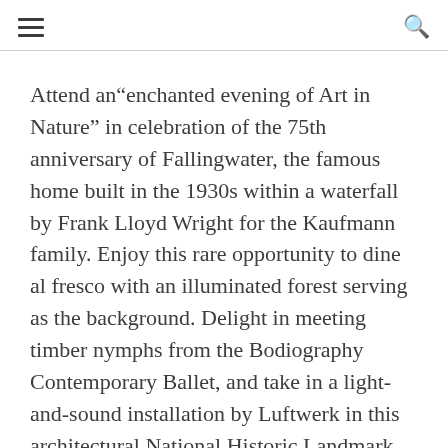≡  🔍
Attend an"enchanted evening of Art in Nature" in celebration of the 75th anniversary of Fallingwater, the famous home built in the 1930s within a waterfall by Frank Lloyd Wright for the Kaufmann family. Enjoy this rare opportunity to dine al fresco with an illuminated forest serving as the background. Delight in meeting timber nymphs from the Bodiography Contemporary Ballet, and take in a light-and-sound installation by Luftwerk in this architectural National Historic Landmark. Click here to learn more details about the event.
celiabirtwell.com